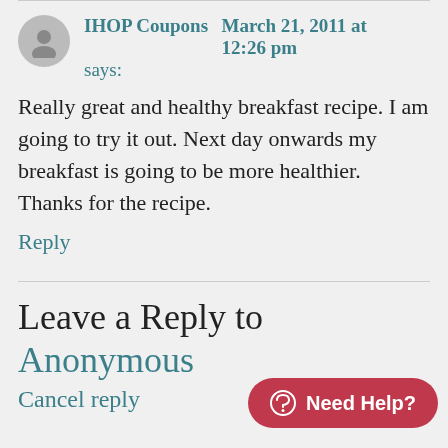IHOP Coupons says:   March 21, 2011 at 12:26 pm
Really great and healthy breakfast recipe. I am going to try it out. Next day onwards my breakfast is going to be more healthier. Thanks for the recipe.
Reply
Leave a Reply to Anonymous
Cancel reply
Your email address will not be published. Required field
Comment *